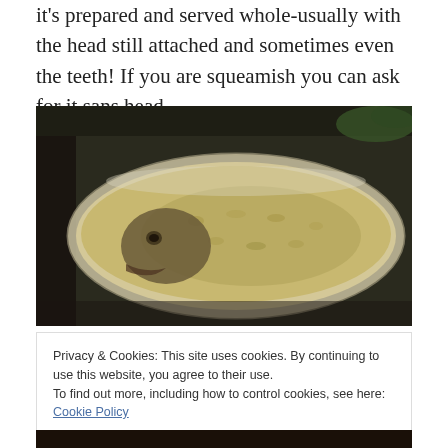it's prepared and served whole-usually with the head still attached and sometimes even the teeth! If you are squeamish you can ask for it sans head.
[Figure (photo): A whole fish or meat item covered in breading/seasoning, placed in an oval plastic or foil tray, viewed from above at an angle. Dark background visible behind the tray.]
Privacy & Cookies: This site uses cookies. By continuing to use this website, you agree to their use.
To find out more, including how to control cookies, see here: Cookie Policy
Close and accept